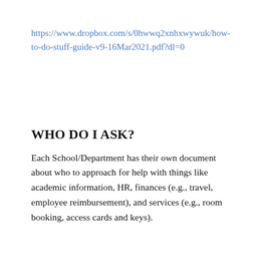https://www.dropbox.com/s/0hwwq2xnhxwywuk/how-to-do-stuff-guide-v9-16Mar2021.pdf?dl=0
WHO DO I ASK?
Each School/Department has their own document about who to approach for help with things like academic information, HR, finances (e.g., travel, employee reimbursement), and services (e.g., room booking, access cards and keys).